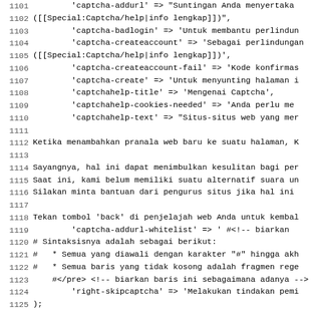Code listing lines 1101-1132, monospace source code in Indonesian/Icelandic localization file